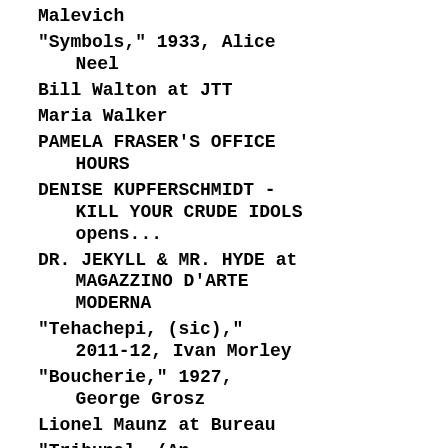Malevich
"Symbols," 1933, Alice Neel
Bill Walton at JTT
Maria Walker
PAMELA FRASER'S OFFICE HOURS
DENISE KUPFERSCHMIDT - KILL YOUR CRUDE IDOLS opens...
DR. JEKYLL & MR. HYDE at MAGAZZINO D'ARTE MODERNA
"Tehachepi, (sic)," 2011-12, Ivan Morley
"Boucherie," 1927, George Grosz
Lionel Maunz at Bureau
"Tribunal, (An...